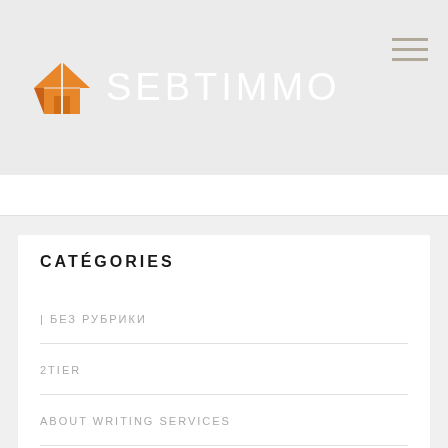[Figure (logo): SEBTIMMO logo with orange house/roof icon and white text 'SEBTIMMO' on gray background]
CATÉGORIES
| БЕЗ РУБРИКИ
2TIER
ABOUT WRITING SERVICES
ADMISSION ESSAY WRITING
ADULT FRIENDFINDERS